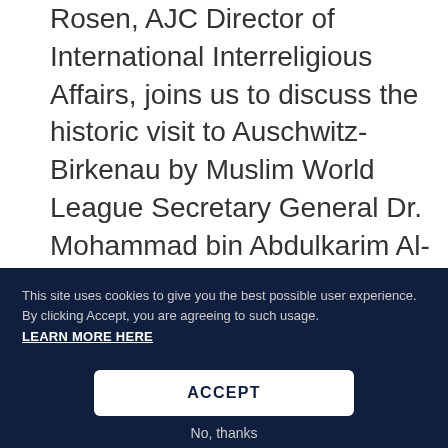Rosen, AJC Director of International Interreligious Affairs, joins us to discuss the historic visit to Auschwitz-Birkenau by Muslim World League Secretary General Dr. Mohammad bin Abdulkarim Al-Issa and a group of Islamic religious leaders, organized by AJC and accompanied by the organization's leadership. Finally, we hear from
This site uses cookies to give you the best possible user experience.  By clicking Accept, you are agreeing to such usage.
LEARN MORE HERE
ACCEPT
No, thanks